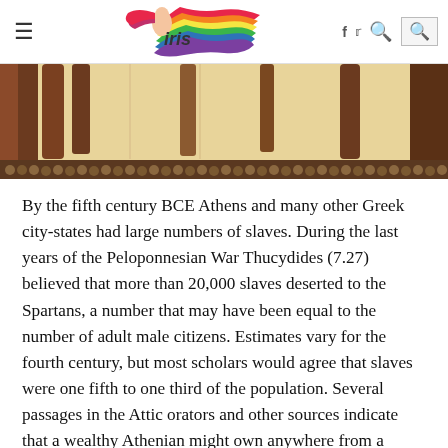iris (logo/navigation header with hamburger menu, social icons, and search)
[Figure (illustration): Partial view of an ancient Greek or Roman artwork showing legs and feet of figures, with decorative border of round stones or beads at the bottom. Brown, tan, and yellow tones.]
By the fifth century BCE Athens and many other Greek city-states had large numbers of slaves. During the last years of the Peloponnesian War Thucydides (7.27) believed that more than 20,000 slaves deserted to the Spartans, a number that may have been equal to the number of adult male citizens. Estimates vary for the fourth century, but most scholars would agree that slaves were one fifth to one third of the population. Several passages in the Attic orators and other sources indicate that a wealthy Athenian might own anywhere from a